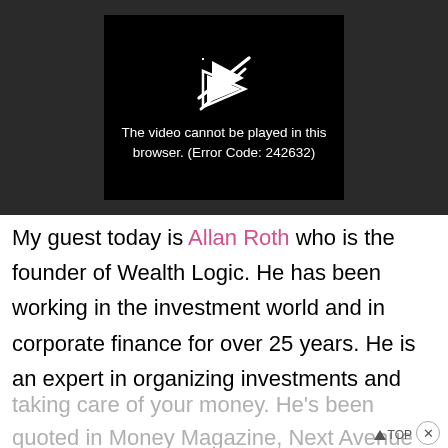[Figure (screenshot): Video player showing error message: 'The video cannot be played in this browser. (Error Code: 242632)' on black background with broken video icon.]
My guest today is Allan Roth who is the founder of Wealth Logic. He has been working in the investment world and in corporate finance for over 25 years. He is an expert in organizing investments and taking care of your money. He's been quoted in Money Magazine, Next Avenue